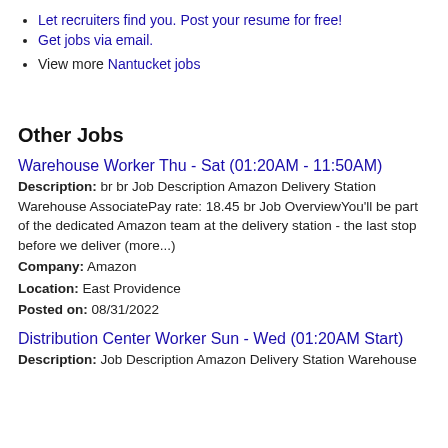Let recruiters find you. Post your resume for free!
Get jobs via email.
View more Nantucket jobs
Other Jobs
Warehouse Worker Thu - Sat (01:20AM - 11:50AM)
Description: br br Job Description Amazon Delivery Station Warehouse AssociatePay rate: 18.45 br Job OverviewYou'll be part of the dedicated Amazon team at the delivery station - the last stop before we deliver (more...)
Company: Amazon
Location: East Providence
Posted on: 08/31/2022
Distribution Center Worker Sun - Wed (01:20AM Start)
Description: Job Description Amazon Delivery Station Warehouse